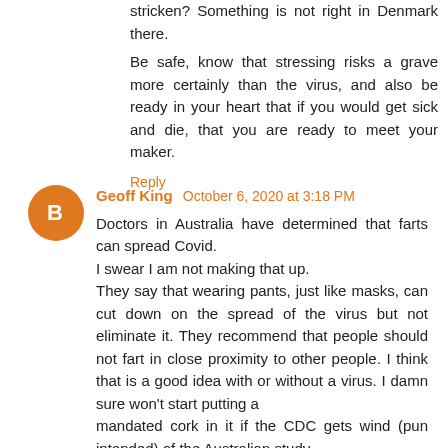stricken? Something is not right in Denmark there.

Be safe, know that stressing risks a grave more certainly than the virus, and also be ready in your heart that if you would get sick and die, that you are ready to meet your maker.
Reply
Geoff King  October 6, 2020 at 3:18 PM
Doctors in Australia have determined that farts can spread Covid.
I swear I am not making that up.
They say that wearing pants, just like masks, can cut down on the spread of the virus but not eliminate it. They recommend that people should not fart in close proximity to other people. I think that is a good idea with or without a virus. I damn sure won't start putting a mandated cork in it if the CDC gets wind (pun intended) of the Australian study.
Reply